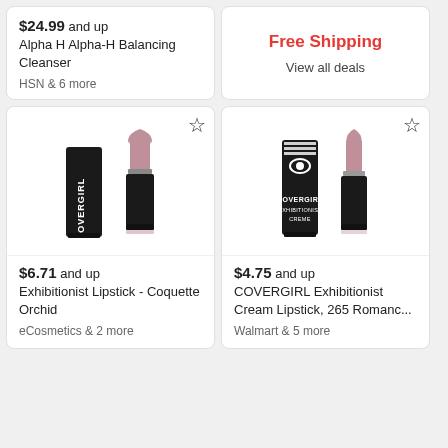$24.99 and up
Alpha H Alpha-H Balancing Cleanser
HSN & 6 more
[Figure (infographic): Free Shipping promotional banner with 'View all deals' link]
[Figure (photo): CoverGirl lipstick product - Exhibitionist Lipstick Coquette Orchid, showing black tube case and lipstick]
$6.71 and up
Exhibitionist Lipstick - Coquette Orchid
eCosmetics & 2 more
[Figure (photo): CoverGirl Exhibitionist Cream Lipstick 265 Romance, showing black tube case and lipstick]
$4.75 and up
COVERGIRL Exhibitionist Cream Lipstick, 265 Romanc...
Walmart & 5 more